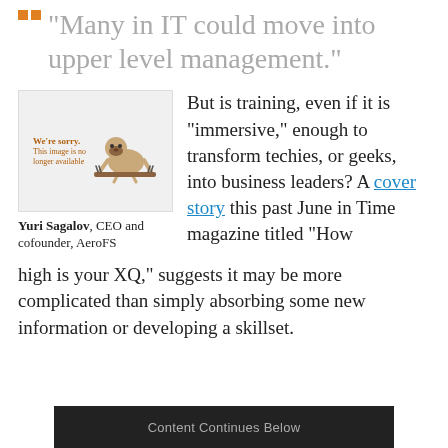“Many in IT could move into upper level management.”
[Figure (photo): Image of a sloth with 'We're sorry. This image is no longer available' placeholder text]
Yuri Sagalov, CEO and cofounder, AeroFS
But is training, even if it is “immersive,” enough to transform techies, or geeks, into business leaders? A cover story this past June in Time magazine titled “How high is your XQ,” suggests it may be more complicated than simply absorbing some new information or developing a skillset.
Content Continues Below